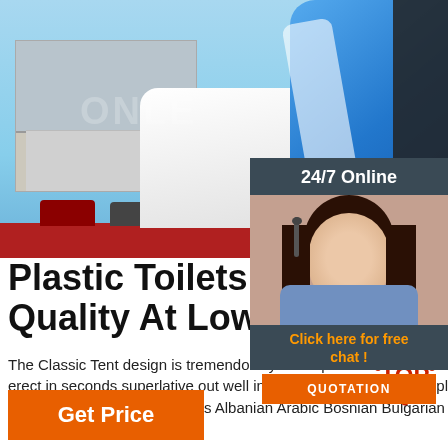[Figure (photo): Large blue inflatable slide/bouncy castle in a parking lot with red mat, building in background, watermark text overlay]
[Figure (infographic): 24/7 Online chat widget with customer service representative photo, orange CTA button with text QUOTATION, and Click here for free chat text]
Plastic Toilets For Sale To Quality At Low ... - Royal
The Classic Tent design is tremendously vers upmarket events, weddings, funerals. Inflata Inflatable tents for sale that erect in seconds superlative out well innovative technology. Just plug the supplied pump into a single air input valve and fully pitch a smart. ... Afrikaans Albanian Arabic Bosnian Bulgarian
[Figure (other): TOP badge with red dot ring decoration]
Get Price